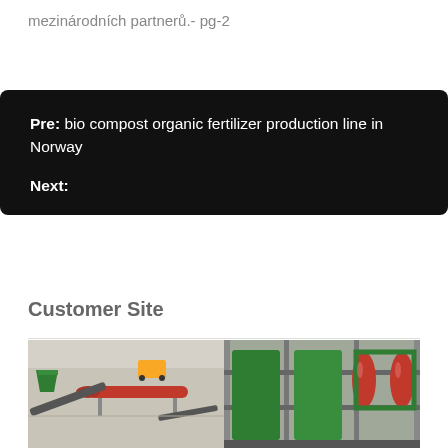mezinárodních partnerů.- pg-2
Pre: bio compost organic fertilizer production line in Norway
Next:
Customer Site
[Figure (photo): Two photos of fertilizer production line equipment in a factory setting. Left photo shows conveyor belts and a large red rotary drum in a warehouse. Right photo shows green and red granulator machines.]